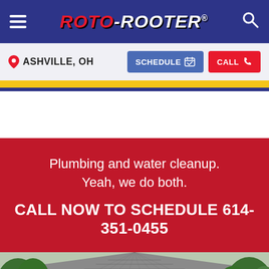ROTO-ROOTER® — Navigation bar with hamburger menu and search icon
📍 ASHVILLE, OH
SCHEDULE  CALL
Plumbing and water cleanup. Yeah, we do both.
CALL NOW TO SCHEDULE 614-351-0455
[Figure (photo): Aerial view of a house rooftop with grey shingles and green trees in the background]